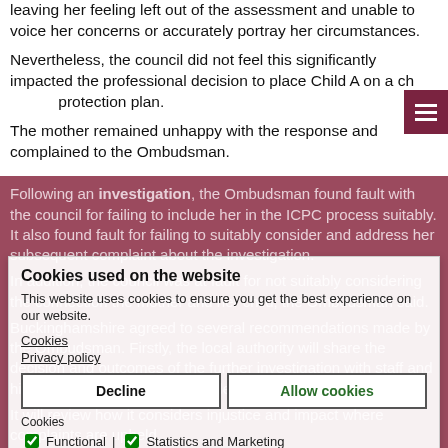leaving her feeling left out of the assessment and unable to voice her concerns or accurately portray her circumstances.
Nevertheless, the council did not feel this significantly impacted the professional decision to place Child A on a child protection plan.
The mother remained unhappy with the response and complained to the Ombudsman.
Following an investigation, the Ombudsman found fault with the council for failing to include her in the ICPC process suitably. It also found fault for failing to suitably consider and address her subsequent complaint about the investigation.
In addition, the council was at fault for not suitably considering the connection the mother and her child, the Ombudsman said.
Buckinghamshire agreed to several recommendations made by the Ombudsman. Firstly, the local authority will share the decision and outcomes of the further investigation with staff and highlight where lessons can be learnt.
It will review how it considers injustice and impact where complaints are upheld.
In addition, the council will review the outcomes of the further